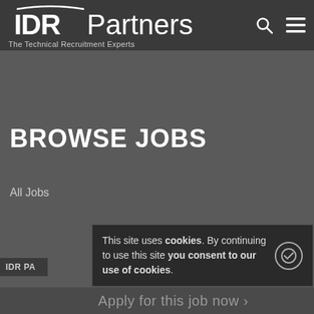IDR Partners – The Technical Recruitment Experts
BROWSE JOBS
All Jobs
IDR PA
Apply for this job now →
This site uses cookies. By continuing to use this site you consent to our use of cookies.